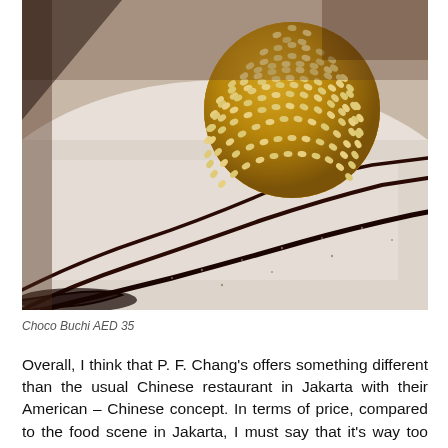[Figure (photo): Close-up photo of a sesame ball dessert (Choco Buchi) on a white plate with dark chocolate sauce drizzled in diagonal lines across the plate.]
Choco Buchi AED 35
Overall, I think that P. F. Chang's offers something different than the usual Chinese restaurant in Jakarta with their American – Chinese concept. In terms of price, compared to the food scene in Jakarta, I must say that it's way too expensive they have to cut at least 1/3 of the price to be at least reasonable. As for the competition I think E&O and Ms.